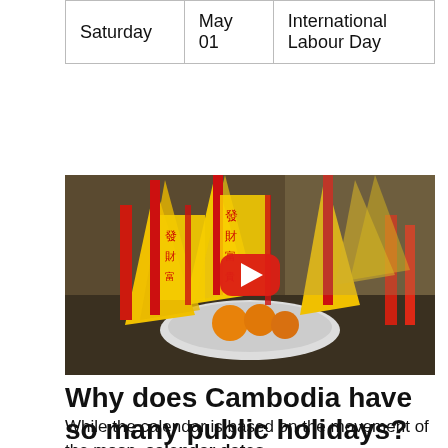| Saturday | May
01 | International Labour Day |
[Figure (screenshot): Video thumbnail showing yellow and red decorative paper offerings on a plate with candles, with a YouTube play button overlay.]
Why does Cambodia have so many public holidays?
While the calendar is based on the movement of the moon, calendar dates